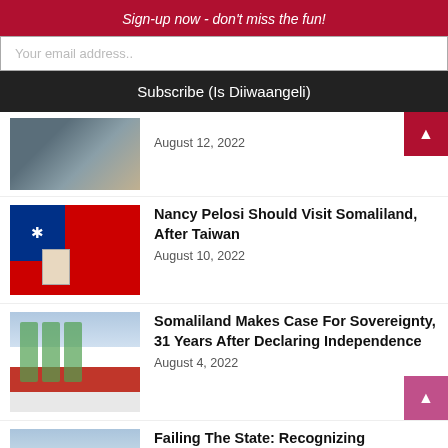Sign-up now - don't miss the fun!
Your email address..
Subscribe (Is Diiwaangeli)
August 12, 2022
Nancy Pelosi Should Visit Somaliland, After Taiwan
August 10, 2022
Somaliland Makes Case For Sovereignty, 31 Years After Declaring Independence
August 4, 2022
Failing The State: Recognizing Somaliland